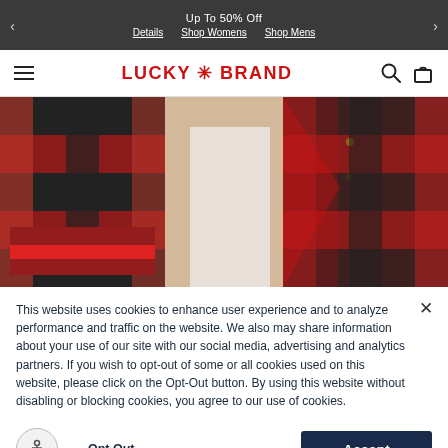Up To 50% Off  Details  Shop Womens  Shop Mens
[Figure (logo): Lucky Brand logo with hamburger menu, search and bag icons]
[Figure (photo): Close-up photo of a red and black buffalo plaid flannel shirt being worn]
This website uses cookies to enhance user experience and to analyze performance and traffic on the website. We also may share information about your use of our site with our social media, advertising and analytics partners. If you wish to opt-out of some or all cookies used on this website, please click on the Opt-Out button. By using this website without disabling or blocking cookies, you agree to our use of cookies.
Opt Out  Accept